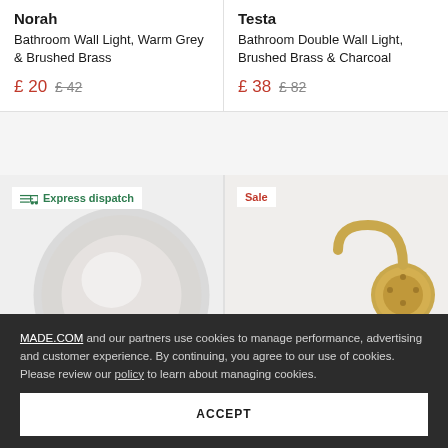Norah
Bathroom Wall Light, Warm Grey & Brushed Brass
£ 20  £ 42
Testa
Bathroom Double Wall Light, Brushed Brass & Charcoal
£ 38  £ 82
[Figure (photo): Circular disc bathroom wall light in warm grey/frosted glass with Express dispatch badge]
[Figure (photo): Brass hook-style bathroom wall light with Sale badge]
MADE.COM and our partners use cookies to manage performance, advertising and customer experience. By continuing, you agree to our use of cookies. Please review our policy to learn about managing cookies.
ACCEPT